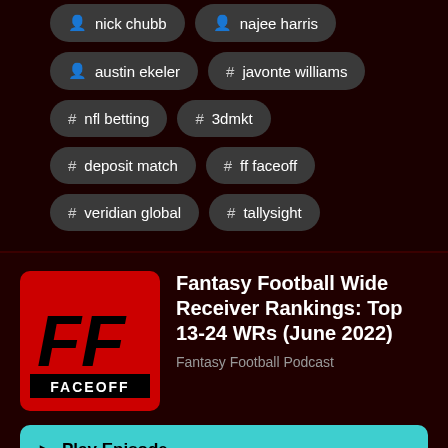nick chubb
najee harris
austin ekeler
javonte williams
# nfl betting
# 3dmkt
# deposit match
# ff faceoff
# veridian global
# tallysight
Fantasy Football Wide Receiver Rankings: Top 13-24 WRs (June 2022)
Fantasy Football Podcast
Play Episode
Listen Later